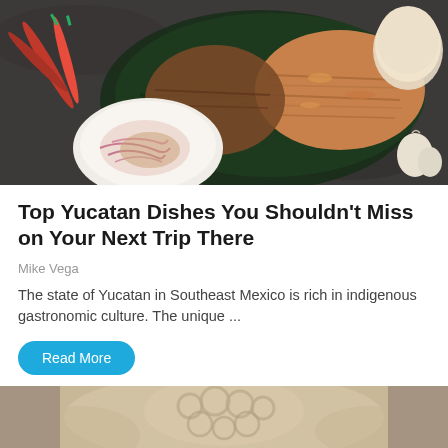[Figure (photo): Food photo showing Yucatan dish — wrapped in banana leaves with shredded meat, pickled red onions on the side, red chili peppers, and tortillas on a dark stone surface.]
Top Yucatan Dishes You Shouldn't Miss on Your Next Trip There
Mike Vega
The state of Yucatan in Southeast Mexico is rich in indigenous gastronomic culture. The unique ...
Read More
[Figure (photo): Close-up food photo of a textured pale tan/beige food item, partially visible at the bottom of the page.]